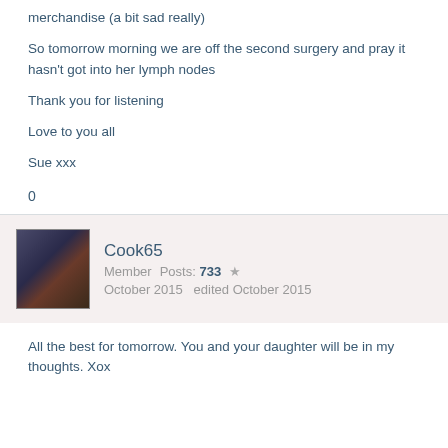merchandise (a bit sad really)
So tomorrow morning we are off the second surgery and pray it hasn't got into her lymph nodes
Thank you for listening
Love to you all
Sue xxx
0
Cook65
Member  Posts: 733  ★
October 2015  edited October 2015
All the best for tomorrow. You and your daughter will be in my thoughts. Xox